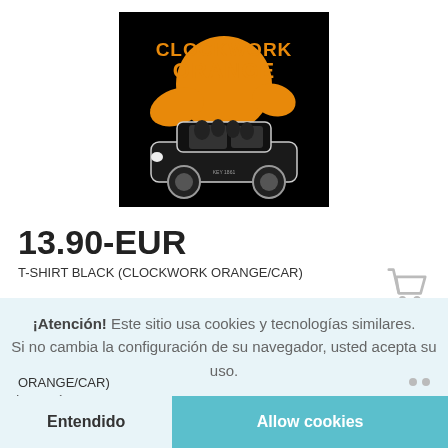[Figure (photo): A Clockwork Orange t-shirt product image on black background showing the movie logo in orange text and a black and white illustration of characters in a car]
13.90-EUR
T-SHIRT BLACK (CLOCKWORK ORANGE/CAR)
¡Atención! Este sitio usa cookies y tecnologías similares. Si no cambia la configuración de su navegador, usted acepta su uso.
Leer más
Entendido
Allow cookies
ORANGE/CAR)